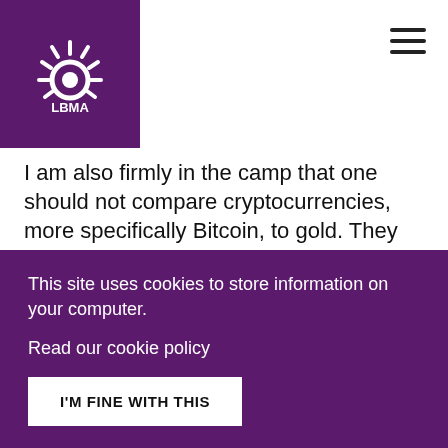LBMA
I am also firmly in the camp that one should not compare cryptocurrencies, more specifically Bitcoin, to gold. They do share two important features — limited supply, and potential alternatives to fiat currency — but this overlooks fundamental differences in terms of their demand/supply dynamics, investment rationale, risk profile, liquidity, performance and the role they play in portfolios. Gold is a physical asset with a 2,000-year track record of storing
This site uses cookies to store information on your computer.
Read our cookie policy
I'M FINE WITH THIS